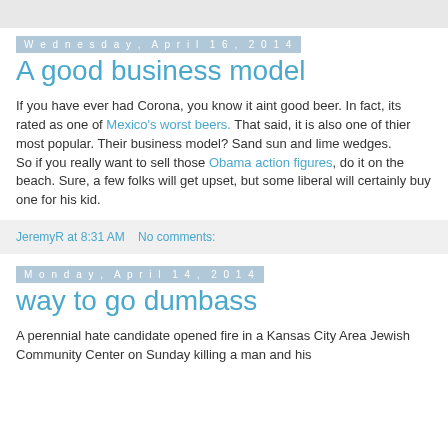Wednesday, April 16, 2014
A good business model
If you have ever had Corona, you know it aint good beer. In fact, its rated as one of Mexico's worst beers. That said, it is also one of thier most popular. Their business model? Sand sun and lime wedges.
So if you really want to sell those Obama action figures, do it on the beach. Sure, a few folks will get upset, but some liberal will certainly buy one for his kid.
JeremyR at 8:31 AM   No comments:
Monday, April 14, 2014
way to go dumbass
A perennial hate candidate opened fire in a Kansas City Area Jewish Community Center on Sunday killing a man and his